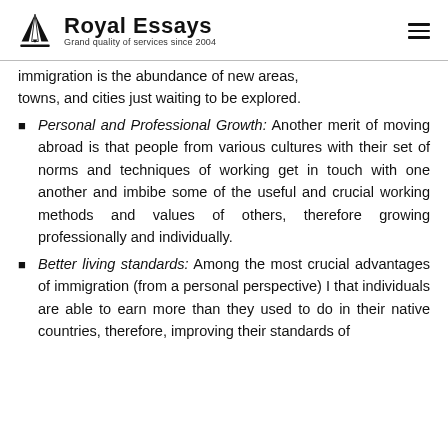Royal Essays — Grand quality of services since 2004
immigration is the abundance of new areas, towns, and cities just waiting to be explored.
Personal and Professional Growth: Another merit of moving abroad is that people from various cultures with their set of norms and techniques of working get in touch with one another and imbibe some of the useful and crucial working methods and values of others, therefore growing professionally and individually.
Better living standards: Among the most crucial advantages of immigration (from a personal perspective) I that individuals are able to earn more than they used to do in their native countries, therefore, improving their standards of